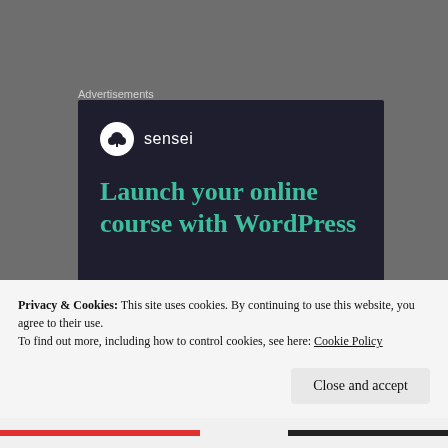Advertisements
[Figure (screenshot): Sensei advertisement banner on dark navy background. Shows Sensei logo (bonsai tree icon in white circle) with text 'sensei', headline 'Launch your online course with WordPress' in teal, and a teal 'Learn More' pill button. Footer shows WordPress logo with 'Powered by WordPress.com'.]
Privacy & Cookies: This site uses cookies. By continuing to use this website, you agree to their use.
To find out more, including how to control cookies, see here: Cookie Policy
Close and accept